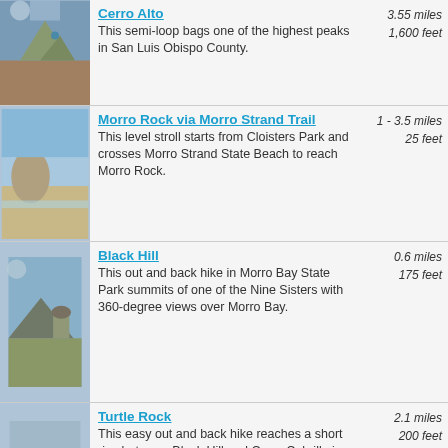Cerro Alto | 3.55 miles | 1,600 feet | This semi-loop bags one of the highest peaks in San Luis Obispo County.
Morro Rock via Morro Strand Trail | 1 - 3.5 miles | 25 feet | This level stroll starts from Cloisters Park and crosses Morro Strand State Beach to reach Morro Rock.
Black Hill | 0.6 miles | 175 feet | This out and back hike in Morro Bay State Park summits of one of the Nine Sisters with 360-degree views over Morro Bay.
Turtle Rock | 2.1 miles | 200 feet | This easy out and back hike reaches a short rise between Black Hill and Cerro Cabrillo in Morro Bay State Park.
Cerro Cabrillo | 2.5 miles | 900 feet | This tough out and back hike summits the highest mountain in Morro Bay State Park, a 911-foot